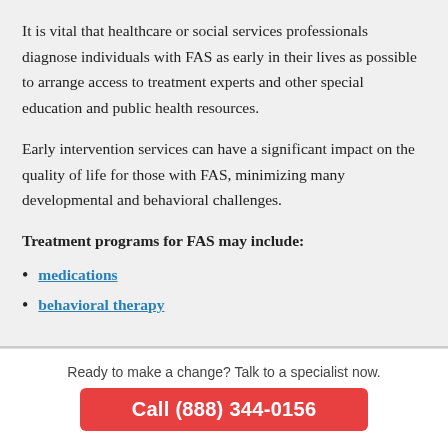It is vital that healthcare or social services professionals diagnose individuals with FAS as early in their lives as possible to arrange access to treatment experts and other special education and public health resources.
Early intervention services can have a significant impact on the quality of life for those with FAS, minimizing many developmental and behavioral challenges.
Treatment programs for FAS may include:
medications
behavioral therapy
Ready to make a change? Talk to a specialist now.
Call (888) 344-0156